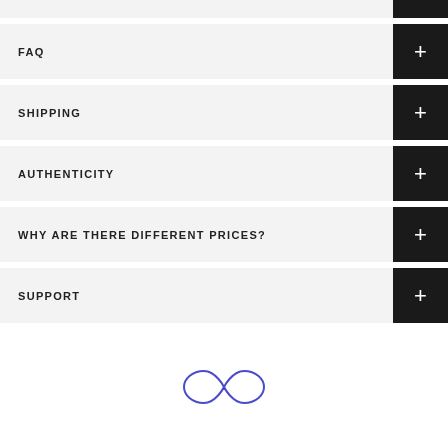FAQ
SHIPPING
AUTHENTICITY
WHY ARE THERE DIFFERENT PRICES?
SUPPORT
[Figure (logo): Infinity loop / figure-8 logo outline in blue-purple]